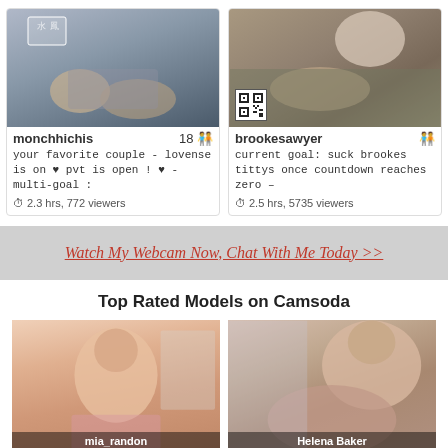[Figure (screenshot): Webcam thumbnail for monchhichis showing two people on a couch]
monchhichis 18
your favorite couple - lovense is on ♥ pvt is open ! ♥ - multi-goal :
2.3 hrs, 772 viewers
[Figure (screenshot): Webcam thumbnail for brookesawyer showing two people on a floor]
brookesawyer
current goal: suck brookes tittys once countdown reaches zero –
2.5 hrs, 5735 viewers
Watch My Webcam Now, Chat With Me Today >>
Top Rated Models on Camsoda
[Figure (screenshot): Model thumbnail left, mia_randon]
[Figure (screenshot): Model thumbnail right, Helena Baker]